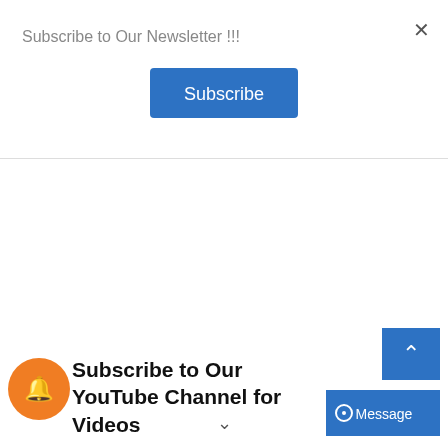Subscribe to Our Newsletter !!!
[Figure (screenshot): Subscribe button - blue rounded rectangle with white text 'Subscribe']
[Figure (screenshot): Orange circular bell notification icon at bottom left]
Subscribe to Our YouTube Channel for Videos
[Figure (screenshot): Blue scroll-up button with caret/arrow up icon]
[Figure (screenshot): Blue Message button with chat bubble icon]